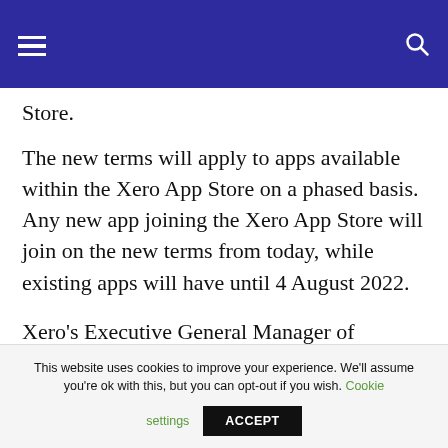[Navigation bar with hamburger menu and search icon]
Store.
The new terms will apply to apps available within the Xero App Store on a phased basis. Any new app joining the Xero App Store will join on the new terms from today, while existing apps will have until 4 August 2022.
Xero's Executive General Manager of Ecosystem, Nick Houldsworth, said Xero recognised early on the benefits
This website uses cookies to improve your experience. We'll assume you're ok with this, but you can opt-out if you wish. Cookie settings ACCEPT